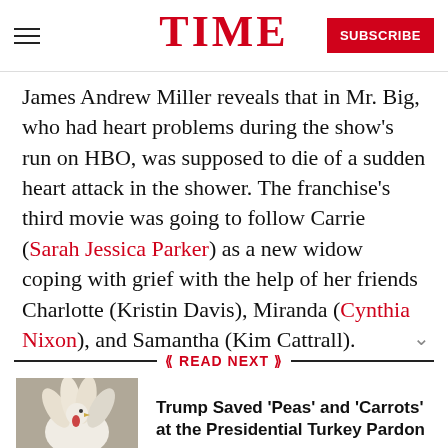TIME — SUBSCRIBE
James Andrew Miller reveals that in Mr. Big, who had heart problems during the show's run on HBO, was supposed to die of a sudden heart attack in the shower. The franchise's third movie was going to follow Carrie (Sarah Jessica Parker) as a new widow coping with grief with the help of her friends Charlotte (Kristin Davis), Miranda (Cynthia Nixon), and Samantha (Kim Cattrall).
READ NEXT
[Figure (photo): White turkey photo for Presidential Turkey Pardon article thumbnail]
Trump Saved 'Peas' and 'Carrots' at the Presidential Turkey Pardon